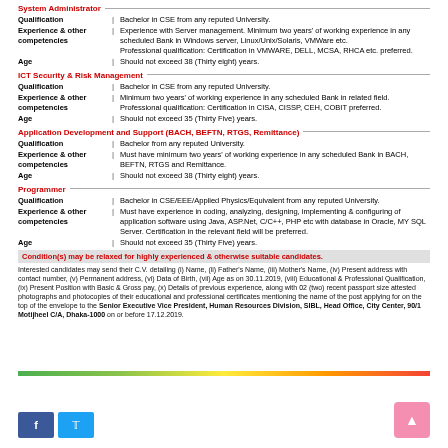System Administrator
| Field |  | Details |
| --- | --- | --- |
| Qualification | | | Bachelor in CSE from any reputed University. |
| Experience & other competencies | | | Experience with Server management. Minimum two years' of working experience in any scheduled Bank in Windows server, Linux/Unix/Solaris, VMWare etc.
Professional qualification: Certification in VMWARE, DELL, MCSA, RHCA etc. preferred. |
| Age | | | Should not exceed 38 (Thirty eight) years. |
ICT Security & Risk Management
| Field |  | Details |
| --- | --- | --- |
| Qualification | | | Bachelor in CSE from any reputed University. |
| Experience & other competencies | | | Minimum two years' of working experience in any scheduled Bank in related field.
Professional qualification: Certification in CISA, CISSP, CEH, COBIT preferred. |
| Age | | | Should not exceed 35 (Thirty Five) years. |
Application Development and Support (BACH, BEFTN, RTGS, Remittance)
| Field |  | Details |
| --- | --- | --- |
| Qualification | | | Bachelor from any reputed University. |
| Experience & other competencies | | | Must have minimum two years' of working experience in any scheduled Bank in BACH, BEFTN, RTGS and Remittance. |
| Age | | | Should not exceed 38 (Thirty eight) years. |
Programmer
| Field |  | Details |
| --- | --- | --- |
| Qualification | | | Bachelor in CSE/EEE/Applied Physics/Equivalent from any reputed University. |
| Experience & other competencies | | | Must have experience in coding, analyzing, designing, implementing & configuring of application software using Java, ASP.Net, C/C++, PHP etc with database in Oracle, MY SQL Server. Certification in the relevant field will be preferred. |
| Age | | | Should not exceed 35 (Thirty Five) years. |
Condition(s) may be relaxed for highly experienced & otherwise suitable candidates.
Interested candidates may send their C.V. detailing (i) Name, (ii) Father's Name, (iii) Mother's Name, (iv) Present address with contact number, (v) Permanent address, (vi) Data of Birth, (vii) Age as on 30.11.2019, (viii) Educational & Professional Qualification, (ix) Present Position with Basic & Gross pay, (x) Details of previous experience, along with 02 (two) recent passport size attested photographs and photocopies of their educational and professional certificates mentioning the name of the post applying for on the top of the envelope to the Senior Executive Vice President, Human Resources Division, SIBL, Head Office, City Center, 90/1 Motijheel C/A, Dhaka-1000 on or before 17.12.2019.